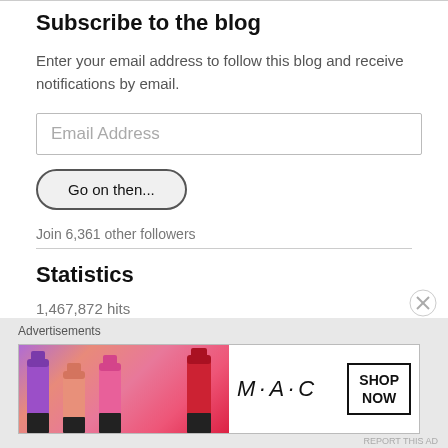Subscribe to the blog
Enter your email address to follow this blog and receive notifications by email.
Email Address
Go on then...
Join 6,361 other followers
Statistics
1,467,872 hits
[Figure (other): MAC Cosmetics advertisement banner showing lipsticks in purple, pink, and red colors with MAC logo and SHOP NOW button]